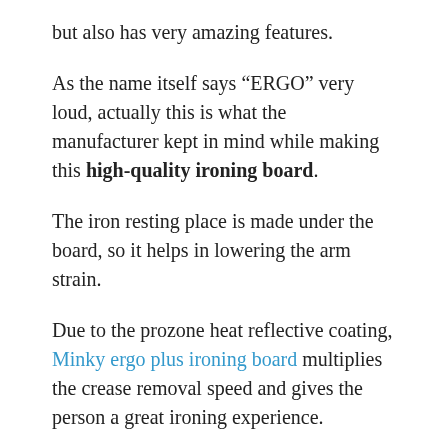but also has very amazing features.
As the name itself says "ERGO" very loud, actually this is what the manufacturer kept in mind while making this high-quality ironing board.
The iron resting place is made under the board, so it helps in lowering the arm strain.
Due to the prozone heat reflective coating, Minky ergo plus ironing board multiplies the crease removal speed and gives the person a great ironing experience.
If you are buying this best ironing board for cotton shirts, stability should be your least concern. The